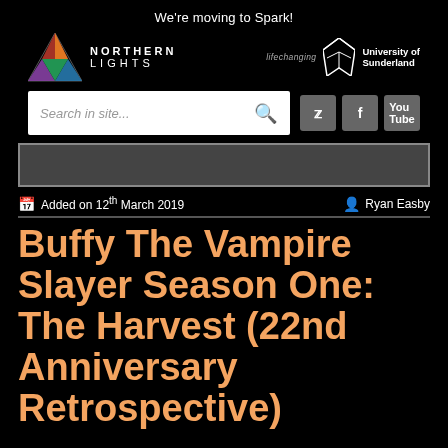We're moving to Spark!
[Figure (logo): Northern Lights logo with colourful triangle and text NORTHERN LIGHTS]
[Figure (logo): University of Sunderland logo with sunburst icon, text 'lifechanging' and 'University of Sunderland']
[Figure (screenshot): Search bar with placeholder 'Search in site...' and magnifier icon, plus social media buttons for Twitter, Facebook, YouTube]
[Figure (screenshot): Dark grey navigation bar]
Added on 12th March 2019   Ryan Easby
Buffy The Vampire Slayer Season One: The Harvest (22nd Anniversary Retrospective)